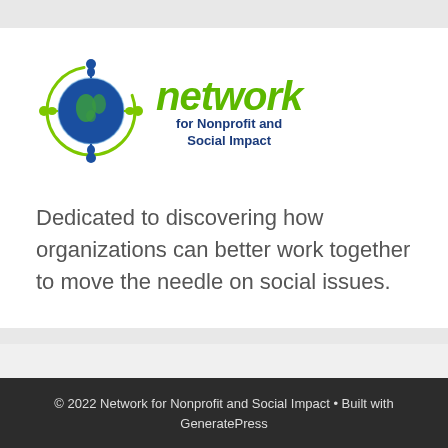[Figure (logo): Network for Nonprofit and Social Impact logo: circular globe icon with people figures connected around it in blue and green, next to the word 'network' in green italic bold text and 'for Nonprofit and Social Impact' in blue bold text below]
Dedicated to discovering how organizations can better work together to move the needle on social issues.
© 2022 Network for Nonprofit and Social Impact • Built with GeneratePress